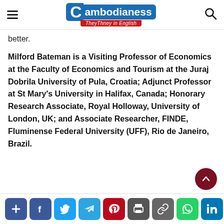Cambodianess — TheyThney in English
better.
Milford Bateman is a Visiting Professor of Economics at the Faculty of Economics and Tourism at the Juraj Dobrila University of Pula, Croatia; Adjunct Professor at St Mary's University in Halifax, Canada; Honorary Research Associate, Royal Holloway, University of London, UK; and Associate Researcher, FINDE, Fluminense Federal University (UFF), Rio de Janeiro, Brazil.
[Figure (other): Social share buttons bar: Add, Facebook, Twitter, Telegram, Pinterest, Print, Link, WhatsApp, LinkedIn]